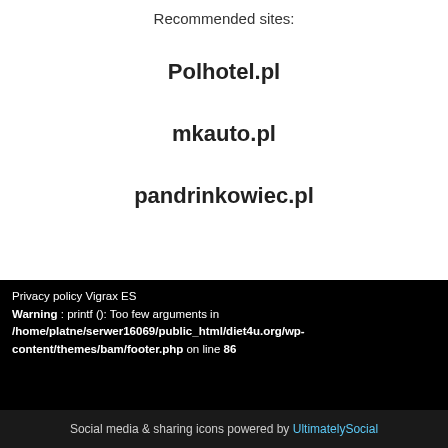Recommended sites:
Polhotel.pl
mkauto.pl
pandrinkowiec.pl
Privacy policy Vigrax ES
Warning : printf (): Too few arguments in /home/platne/serwer16069/public_html/diet4u.org/wp-content/themes/bam/footer.php on line 86
Social media & sharing icons powered by UltimatelySocial